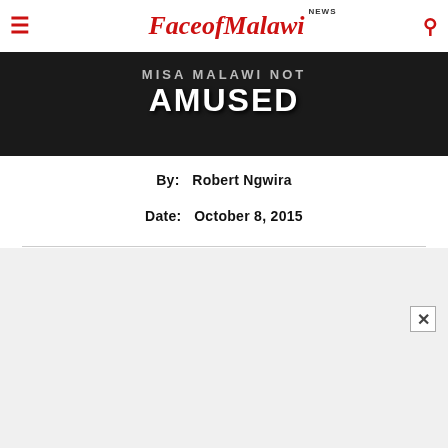FaceofMalawi NEWS
[Figure (photo): Dark hero image with article headline text: 'MISA MALAWI NOT AMUSED' overlaid in white bold text on a dark background. Partial text at top reads '[...] PRESS[ON] HI[...] IP:']
By:  Robert Ngwira
Date:  October 8, 2015